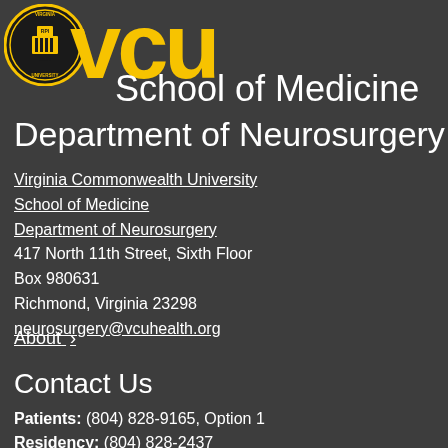[Figure (logo): VCU School of Medicine logo with Virginia Commonwealth University seal (circular gold and black seal with RPI 1838) and large gold VCU text, with white 'School of Medicine' text below]
Department of Neurosurgery
Virginia Commonwealth University
School of Medicine
Department of Neurosurgery
417 North 11th Street, Sixth Floor
Box 980631
Richmond, Virginia 23298
neurosurgery@vcuhealth.org
About >
Contact Us
Patients: (804) 828-9165, Option 1
Residency: (804) 828-2437